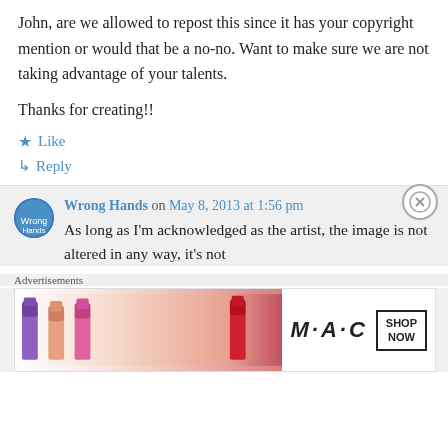John, are we allowed to repost this since it has your copyright mention or would that be a no-no. Want to make sure we are not taking advantage of your talents.

Thanks for creating!!
★ Like
↳ Reply
Wrong Hands on May 8, 2013 at 1:56 pm
As long as I'm acknowledged as the artist, the image is not altered in any way, it's not
Advertisements
[Figure (photo): MAC cosmetics advertisement showing lipsticks with text SHOP NOW]